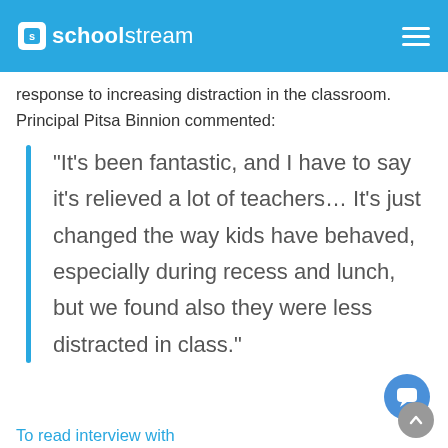schoolstream
response to increasing distraction in the classroom. Principal Pitsa Binnion commented:
“It’s been fantastic, and I have to say it’s relieved a lot of teachers… It’s just changed the way kids have behaved, especially during recess and lunch, but we found also they were less distracted in class.”
To read interview with